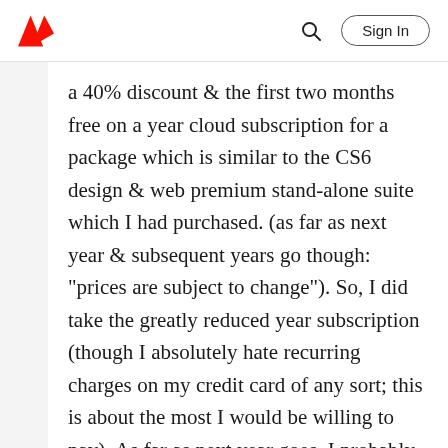Adobe | Sign In
a 40% discount & the first two months free on a year cloud subscription for a package which is similar to the CS6 design & web premium stand-alone suite which I had purchased. (as far as next year & subsequent years go though: "prices are subject to change"). So, I did take the greatly reduced year subscription (though I absolutely hate recurring charges on my credit card of any sort; this is about the most I would be willing to pay). As far as next year goes, I probably won't be resubscribing if the price should shoot up 40% (that